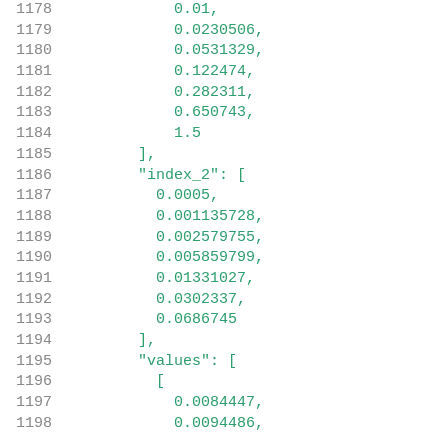1178    0.01,
1179    0.0230506,
1180    0.0531329,
1181    0.122474,
1182    0.282311,
1183    0.650743,
1184    1.5
1185    ],
1186    "index_2": [
1187    0.0005,
1188    0.001135728,
1189    0.002579755,
1190    0.005859799,
1191    0.01331027,
1192    0.0302337,
1193    0.0686745
1194    ],
1195    "values": [
1196    [
1197    0.0084447,
1198    0.0094486,